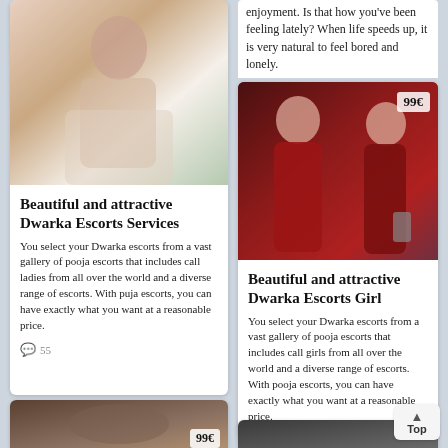[Figure (photo): Young woman in white top lying on bed]
Beautiful and attractive Dwarka Escorts Services
You select your Dwarka escorts from a vast gallery of pooja escorts that includes call ladies from all over the world and a diverse range of escorts. With puja escorts, you can have exactly what you want at a reasonable price.
55
enjoyment. Is that how you've been feeling lately? When life speeds up, it is very natural to feel bored and lonely.
[Figure (photo): Woman in red dress posing, price badge 99€]
Beautiful and attractive Dwarka Escorts Girl
You select your Dwarka escorts from a vast gallery of pooja escorts that includes call girls from all over the world and a diverse range of escorts. With pooja escorts, you can have exactly what you want at a reasonable price.
[Figure (photo): Partial bottom-left photo with 99€ badge]
[Figure (photo): Partial bottom-right photo]